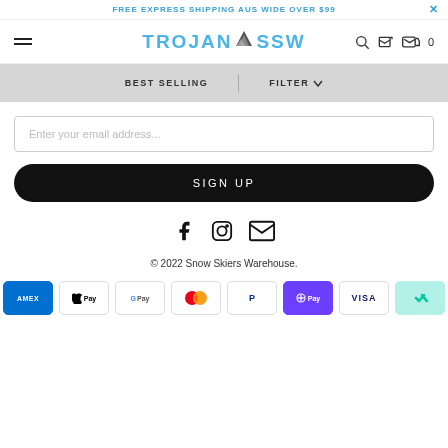FREE EXPRESS SHIPPING AUS WIDE OVER $99
[Figure (logo): TROJAN SSW logo with mountain icon]
BEST SELLING | FILTER
Enter your email address...
SIGN UP
[Figure (infographic): Social media icons: Facebook, Instagram, Email]
© 2022 Snow Skiers Warehouse.
[Figure (infographic): Payment method icons: AMEX, Apple Pay, Google Pay, Mastercard, PayPal, OPay, VISA, Afterpay]